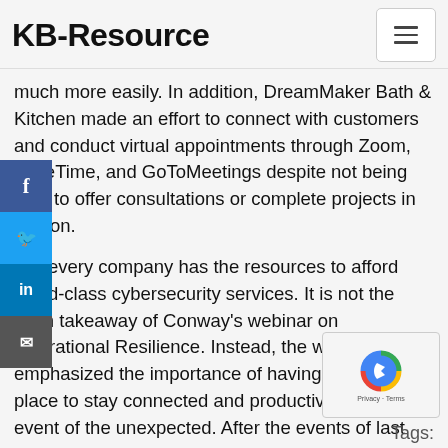KB-Resource
much more easily. In addition, DreamMaker Bath & Kitchen made an effort to connect with customers and conduct virtual appointments through Zoom, FaceTime, and GoToMeetings despite not being able to offer consultations or complete projects in person.
Not every company has the resources to afford world-class cybersecurity services. It is not the main takeaway of Conway's webinar on Operational Resilience. Instead, the webinar emphasized the importance of having strategies in place to stay connected and productive in the event of the unexpected. After the events of last year, preparedness is being recognized as more important than ever.
Tags: